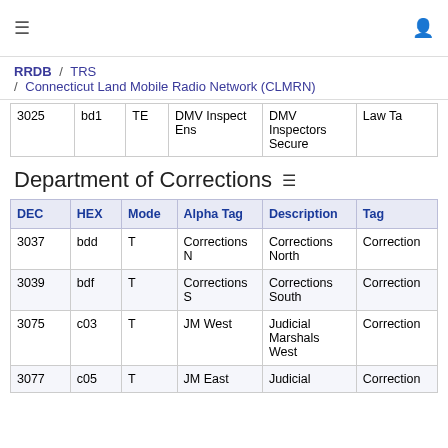≡  (user icon)
RRDB / TRS / Connecticut Land Mobile Radio Network (CLMRN)
| 3025 | bd1 | TE | DMV Inspect Ens | DMV Inspectors Secure | Law Ta |
Department of Corrections
| DEC | HEX | Mode | Alpha Tag | Description | Tag |
| --- | --- | --- | --- | --- | --- |
| 3037 | bdd | T | Corrections N | Corrections North | Correction |
| 3039 | bdf | T | Corrections S | Corrections South | Correction |
| 3075 | c03 | T | JM West | Judicial Marshals West | Correction |
| 3077 | c05 | T | JM East | Judicial | Correction |